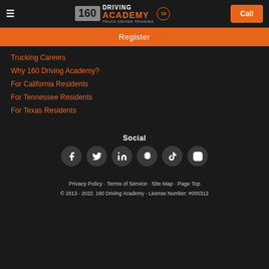[Figure (logo): 160 Driving Academy logo with truck driver training text and 10-year anniversary badge]
Register
Trucking Careers
Why 160 Driving Academy?
For California Residents
For Tennessee Residents
For Texas Residents
Social
[Figure (infographic): Social media icons: Facebook, Twitter, LinkedIn, Snapchat, TikTok, Instagram]
Privacy Policy · Terms of Service · Site Map · Page Top
© 2013 - 2022. 160 Driving Academy - License Number: #000312